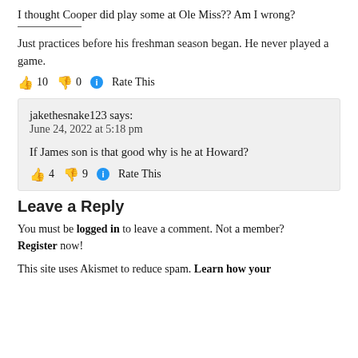I thought Cooper did play some at Ole Miss?? Am I wrong?
Just practices before his freshman season began. He never played a game.
👍 10 👎 0 ℹ Rate This
jakethesnake123 says: June 24, 2022 at 5:18 pm
If James son is that good why is he at Howard?
👍 4 👎 9 ℹ Rate This
Leave a Reply
You must be logged in to leave a comment. Not a member? Register now!
This site uses Akismet to reduce spam. Learn how your